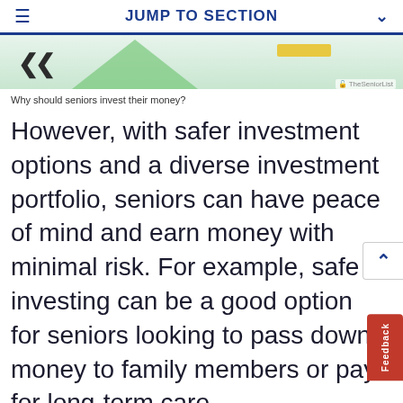JUMP TO SECTION
[Figure (illustration): Partial view of an illustration showing cartoon hands and green/yellow financial graphics, with TheSeniorList watermark]
Why should seniors invest their money?
However, with safer investment options and a diverse investment portfolio, seniors can have peace of mind and earn money with minimal risk. For example, safe investing can be a good option for seniors looking to pass down money to family members or pay for long-term care.
FYI: Investments should play a part in your overall estate plan. Read my guide, What Is Estate Planning, to